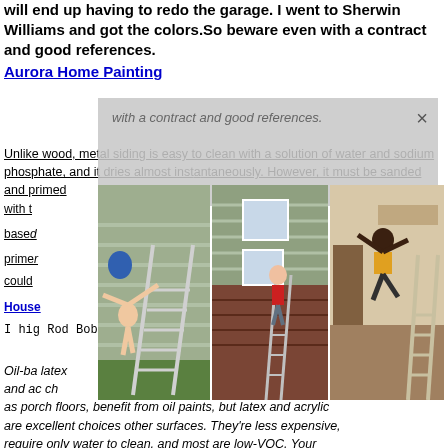will end up having to redo the garage. I went to Sherwin Williams and got the colors.So beware even with a contract and good references.
Aurora Home Painting
Unlike wood, metal siding is easy to clean with a solution of water and sodium phosphate, and it dries almost instantaneously. However, it must be sanded and primed with two coats of primer — either an oil-based or a water-based primer. Either type of primer could … Aurora House…
I hig… Rod Bob…
[Figure (photo): Three photos of people painting or working on house exteriors with ladders]
Oil-ba… latex and ac… such as porch floors, benefit from oil paints, but latex and acrylic are excellent choices other surfaces. They're less expensive, require only water to clean, and most are low-VOC. Your contractor will work with you to choose paints based on your needs and area weather conditions.